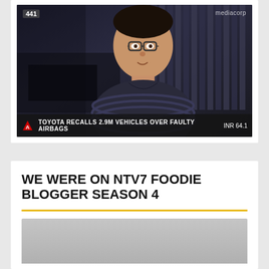[Figure (screenshot): TV screenshot showing a man being interviewed, with a news ticker at the bottom reading 'TOYOTA RECALLS 2.9M VEHICLES OVER FAULTY AIRBAGS' and 'INR 64.1', channel number 441 top-left, mediacorp logo top-right]
WE WERE ON NTV7 FOODIE BLOGGER SEASON 4
[Figure (photo): Partially visible photo at bottom of page, gray background, appears to be the start of another image]